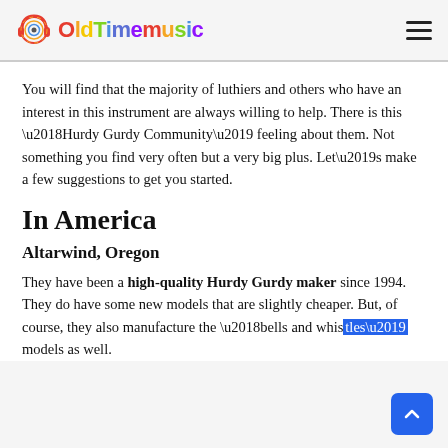OldTimemusic
You will find that the majority of luthiers and others who have an interest in this instrument are always willing to help. There is this ‘Hurdy Gurdy Community’ feeling about them. Not something you find very often but a very big plus. Let’s make a few suggestions to get you started.
In America
Altarwind, Oregon
They have been a high-quality Hurdy Gurdy maker since 1994. They do have some new models that are slightly cheaper. But, of course, they also manufacture the ‘bells and whis… models as well.